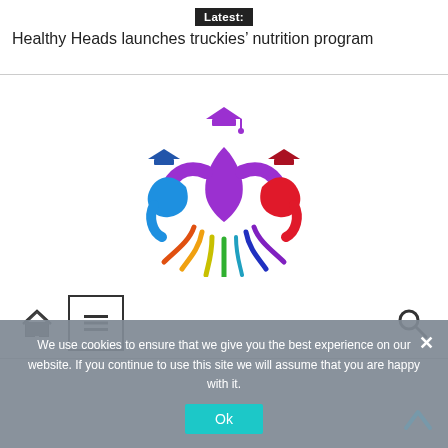Latest: Healthy Heads launches truckies' nutrition program
[Figure (logo): Colorful logo showing three stylized people/figures in blue, purple, and red with graduation caps, arranged symmetrically with flowing rainbow-colored ribbons at the bottom]
[Figure (infographic): Navigation bar with home icon, hamburger menu button in a box, and search icon]
We use cookies to ensure that we give you the best experience on our website. If you continue to use this site we will assume that you are happy with it.